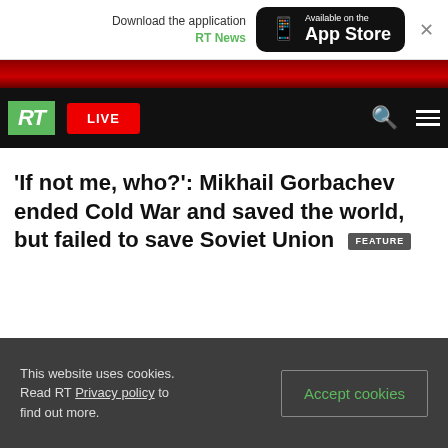[Figure (screenshot): App Store download banner with phone icon, 'Available on the App Store' button, and close X button]
RT News - LIVE
‘If not me, who?’: Mikhail Gorbachev ended Cold War and saved the world, but failed to save Soviet Union FEATURE
This website uses cookies. Read RT Privacy policy to find out more.